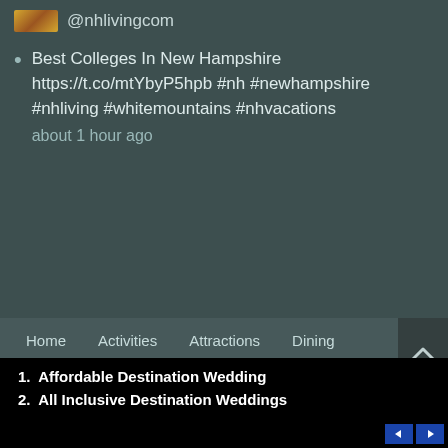@nhlivingcom
Best Colleges In New Hampshire https://t.co/mtYbyP5hpb #nh #newhampshire #nhliving #whitemountains #nhvacations about 1 hour ago
Home  Activities  Attractions  Dining  Lodging  Real Estate  Sitemap  Contact
1. Affordable Destination Wedding
2. All Inclusive Destination Weddings